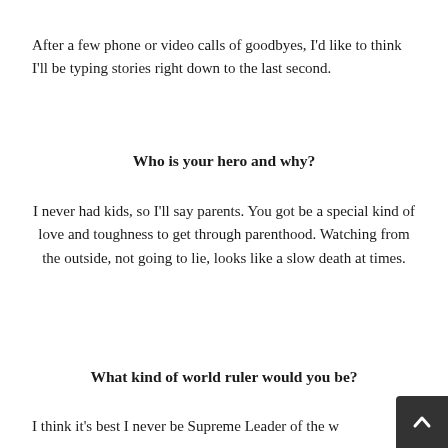After a few phone or video calls of goodbyes, I'd like to think I'll be typing stories right down to the last second.
Who is your hero and why?
I never had kids, so I'll say parents. You got be a special kind of love and toughness to get through parenthood. Watching from the outside, not going to lie, looks like a slow death at times.
What kind of world ruler would you be?
I think it's best I never be Supreme Leader of the world. I would take away a lot of things for about a year ju…